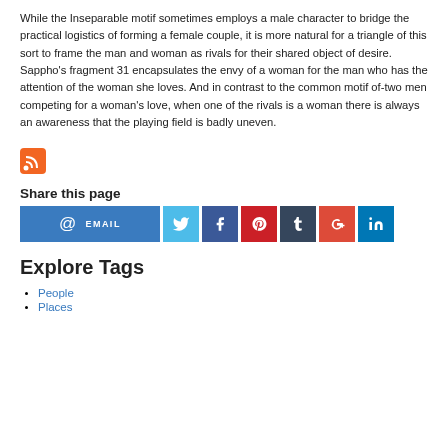While the Inseparable motif sometimes employs a male character to bridge the practical logistics of forming a female couple, it is more natural for a triangle of this sort to frame the man and woman as rivals for their shared object of desire. Sappho's fragment 31 encapsulates the envy of a woman for the man who has the attention of the woman she loves. And in contrast to the common motif of-two men competing for a woman's love, when one of the rivals is a woman there is always an awareness that the playing field is badly uneven.
[Figure (logo): RSS feed icon - orange square with white RSS signal symbol]
Share this page
[Figure (infographic): Social sharing buttons: Email (blue), Twitter (light blue), Facebook (dark blue), Pinterest (red), Tumblr (dark navy), Google+ (orange-red), LinkedIn (blue)]
Explore Tags
People
Places